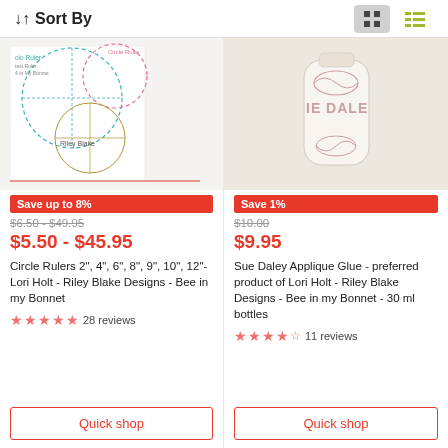↓↑ Sort By
[Figure (photo): Circle rulers product image showing multiple circular quilting rulers on white background, Riley Blake Designs branding]
Save up to 8%
$6.50 - $49.95
$5.50 - $45.95
Circle Rulers 2", 4", 6", 8", 9", 10", 12"- Lori Holt - Riley Blake Designs - Bee in my Bonnet
28 reviews
Quick shop
[Figure (photo): Sue Daley Applique Glue white bottle product image]
Save 1%
$10.00
$9.95
Sue Daley Applique Glue - preferred product of Lori Holt - Riley Blake Designs - Bee in my Bonnet - 30 ml bottles
11 reviews
Quick shop